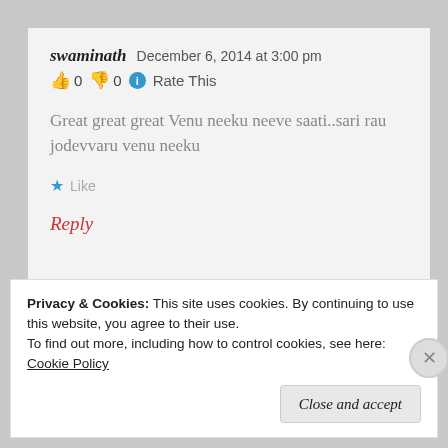swaminath   December 6, 2014 at 3:00 pm
👍 0 👎 0 ℹ Rate This
Great great great Venu neeku neeve saati..sari rau jodevvaru venu neeku
★ Like
Reply
Privacy & Cookies: This site uses cookies. By continuing to use this website, you agree to their use.
To find out more, including how to control cookies, see here: Cookie Policy
Close and accept